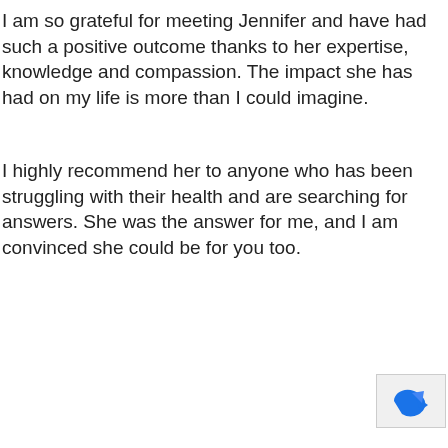I am so grateful for meeting Jennifer and have had such a positive outcome thanks to her expertise, knowledge and compassion. The impact she has had on my life is more than I could imagine.
I highly recommend her to anyone who has been struggling with their health and are searching for answers. She was the answer for me, and I am convinced she could be for you too.
[Figure (logo): Partial logo icon in blue, bottom-right corner, appears to be a reCAPTCHA or similar service logo]